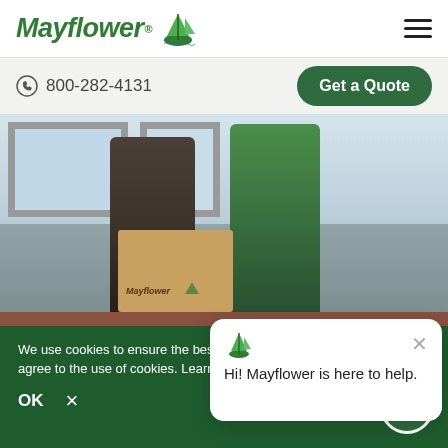Mayflower (logo) | hamburger menu
800-282-4131  Get a Quote
[Figure (photo): Two people standing indoors near a window; one in a grey shirt handling a Mayflower-branded moving box, the other in a green polo shirt holding a tablet/clipboard.]
HOME / MOVING TIPS & AD... RELATED MOVE
[Figure (screenshot): Chat popup with Mayflower ship logo and text: Hi! Mayflower is here to help.]
We use cookies to ensure the best experience. By continuing, you agree to the use of cookies. Learn more at GDPR Privacy Policy
OK   ×